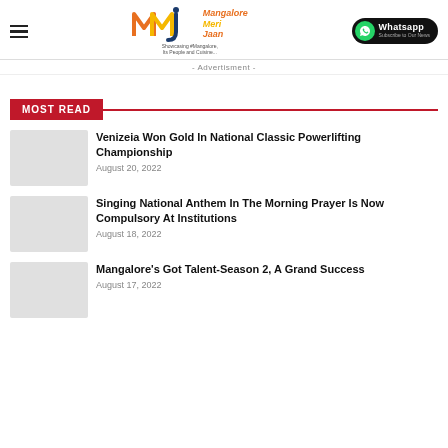Mangalore Meri Jaan — Showcasing #Mangalore, Its People and Cuisine...
- Advertisment -
MOST READ
Venizeia Won Gold In National Classic Powerlifting Championship
August 20, 2022
Singing National Anthem In The Morning Prayer Is Now Compulsory At Institutions
August 18, 2022
Mangalore's Got Talent-Season 2, A Grand Success
August 17, 2022